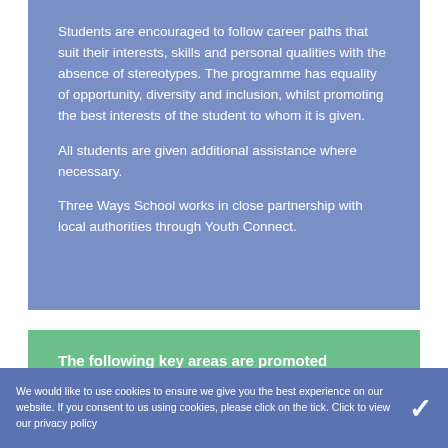Students are encouraged to follow career paths that suit their interests, skills and personal qualities with the absence of stereotypes. The programme has equality of opportunity, diversity and inclusion, whilst promoting the best interests of the student to whom it is given.
All students are given additional assistance where necessary.
Three Ways School works in close partnership with local authorities through Youth Connect.
The following key areas are promoted throughout KS3 and KS4:
We would like to use cookies to ensure we give you the best experience on our website. If you consent to us using cookies, please click on the tick. Click to view our privacy policy